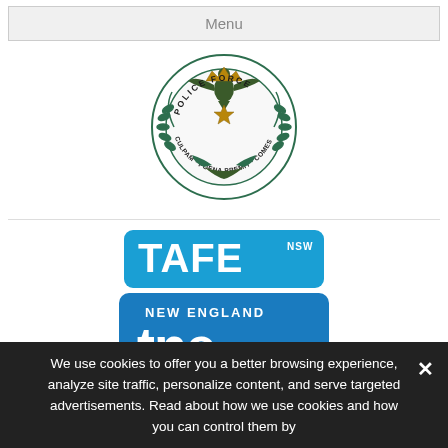Menu
[Figure (logo): NSW Police Force badge/crest logo with eagle, laurel wreath, and motto CULPAM POENA PREMIT COMES]
[Figure (logo): TAFE NSW logo - blue rounded rectangle with white TAFE NSW text]
[Figure (logo): TAFE NSW New England (tne) logo - blue rounded rectangle with NEW ENGLAND and tne text, colorful wave at bottom]
[Figure (logo): ATAAC logo - colorful dot grid on left and blue ATAAC text on right]
We use cookies to offer you a better browsing experience, analyze site traffic, personalize content, and serve targeted advertisements. Read about how we use cookies and how you can control them by